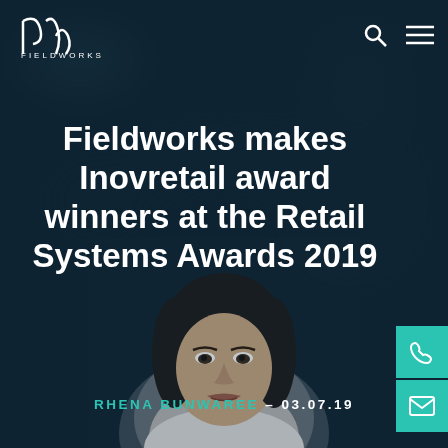[Figure (screenshot): Fieldworks website header/article page screenshot with dark teal background, logo top-left, search and menu icons top-right, large white title text centered, teal author name and date, teal sidebar buttons (phone and email), black-and-white portrait photo of a woman at the bottom]
FIELDWORKS
Fieldworks makes Inovretail award winners at the Retail Systems Awards 2019
RHENA BUNWAREE – 03.07.19